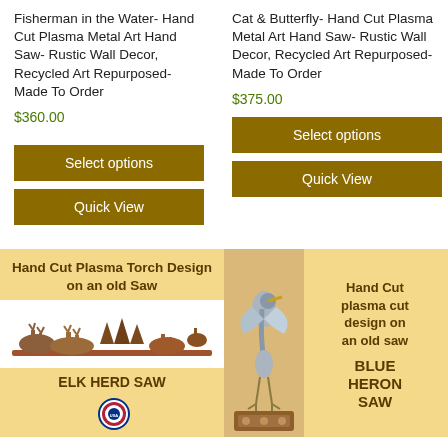Fisherman in the Water- Hand Cut Plasma Metal Art Hand Saw- Rustic Wall Decor, Recycled Art Repurposed- Made To Order
$360.00
Cat & Butterfly- Hand Cut Plasma Metal Art Hand Saw- Rustic Wall Decor, Recycled Art Repurposed- Made To Order
$375.00
Select options
Quick View
Select options
Quick View
[Figure (photo): Product card with tan background showing 'Hand Cut Plasma Torch Design on an old Saw' title, image of elk herd saw metalwork, and 'ELK HERD SAW' label at bottom with Made in USA badge]
[Figure (photo): Product card with tan background showing blue heron image on left and text 'Hand Cut plasma cut design on an old saw BLUE HERON SAW' on right]